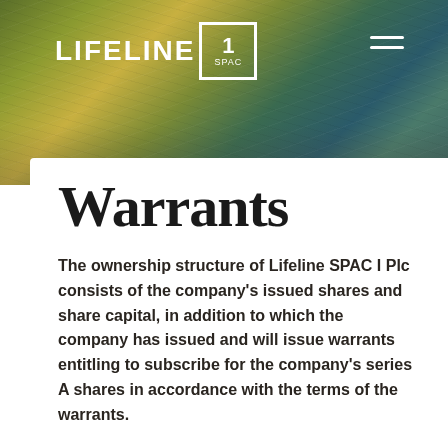[Figure (logo): Lifeline 1 SPAC logo with white text and boxed number 1, on a textured aerial landscape background with olive, gold, and teal tones. Hamburger menu icon in top right.]
Warrants
The ownership structure of Lifeline SPAC I Plc consists of the company's issued shares and share capital, in addition to which the company has issued and will issue warrants entitling to subscribe for the company's series A shares in accordance with the terms of the warrants.